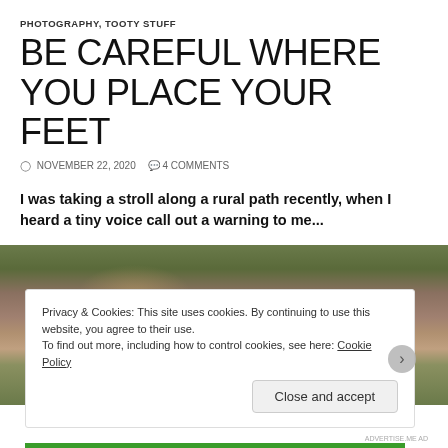PHOTOGRAPHY, TOOTY STUFF
BE CAREFUL WHERE YOU PLACE YOUR FEET
NOVEMBER 22, 2020   4 COMMENTS
I was taking a stroll along a rural path recently, when I heard a tiny voice call out a warning to me...
[Figure (photo): Close-up photo of fallen autumn leaves and green grass on a rural path]
Privacy & Cookies: This site uses cookies. By continuing to use this website, you agree to their use. To find out more, including how to control cookies, see here: Cookie Policy
Close and accept